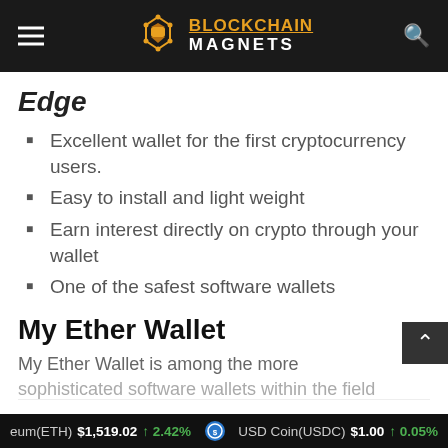Blockchain Magnets
Edge
Excellent wallet for the first cryptocurrency users.
Easy to install and light weight
Earn interest directly on crypto through your wallet
One of the safest software wallets
My Ether Wallet
My Ether Wallet is among the more sophisticated software wallets within the field
eum(ETH) $1,519.02 ↑ 2.42%   USD Coin(USDC) $1.00 ↑ 0.05%